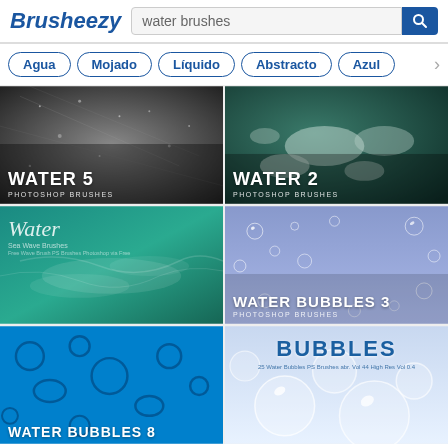Brusheezy — water brushes search page
Agua | Mojado | Líquido | Abstracto | Azul
[Figure (screenshot): Thumbnail: Water 5 Photoshop Brushes — grayscale water droplets on rock surface]
[Figure (screenshot): Thumbnail: Water 2 Photoshop Brushes — teal/dark green ocean foam texture]
[Figure (screenshot): Thumbnail: Water (Sea Wave Brushes) — teal pool/ocean water surface]
[Figure (screenshot): Thumbnail: Water Bubbles 3 Photoshop Brushes — blue/purple background with white transparent bubbles]
[Figure (screenshot): Thumbnail: Water Bubbles 8 — bright blue background with dark bubble shapes, partially visible]
[Figure (screenshot): Thumbnail: Bubbles — light blue/white background with large transparent bubbles, partially visible]